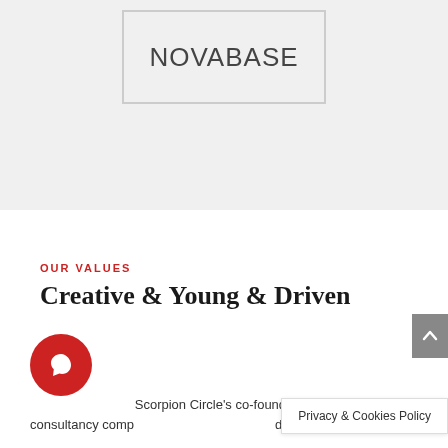[Figure (logo): NOVABASE logo in a light gray bordered box on a gray background]
OUR VALUES
Creative & Young & Driven
[Figure (illustration): Red circular chat/message icon button]
Scorpion Circle's co-founder, a young consultancy comp...d
Privacy & Cookies Policy